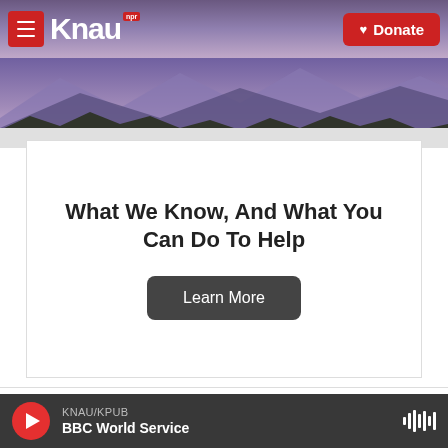[Figure (screenshot): KNAU NPR radio station website header with hamburger menu, KNAU logo, mountain background, and red Donate button]
What We Know, And What You Can Do To Help
Learn More
Comments  Community  🔒  1  Login
Favorite  Sort by Best
KNAU/KPUB  BBC World Service